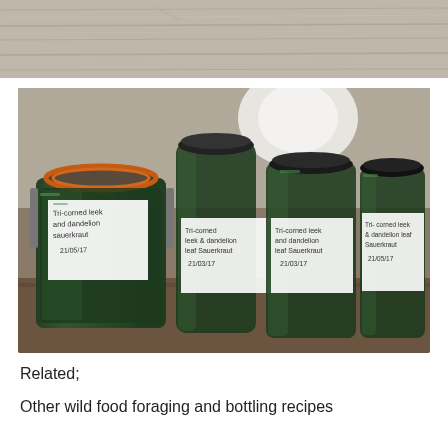[Figure (photo): Top portion of a wooden plank background, light gray-brown weathered wood with horizontal grain lines]
[Figure (photo): Four glass jars filled with dark green fermented leek and dandelion leaf sauerkraut. The jars have handwritten white labels reading 'Tri-corned leek and dandelion sauerkraut 21/05/17' and variations of that label on each jar. The leftmost jar has an orange rubber-seal clip-top lid that is open. The others have dark screw-top lids. Jars sit on a wooden surface.]
Related;
Other wild food foraging and bottling recipes